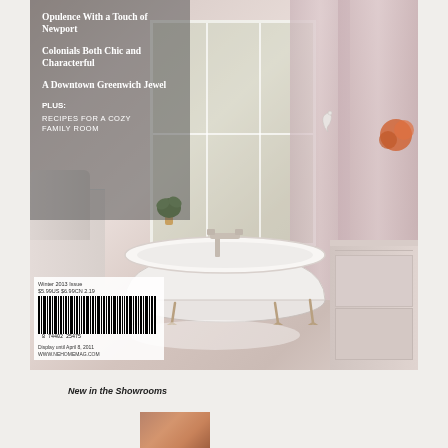[Figure (photo): Magazine back cover showing an elegant bathroom with a white clawfoot bathtub, pink/mauve curtains, French windows with garden view, tufted chair on left, white vanity on right, marble floor, and a swan figurine. Text overlay panel on upper left shows article titles.]
Opulence With a Touch of Newport
Colonials Both Chic and Characterful
A Downtown Greenwich Jewel
PLUS:
RECIPES FOR A COZY FAMILY ROOM
Winter 2013 Issue
$5.99US  $6.99CN  2.19
Display until April 8, 2011
WWW.NEHOMEMAG.COM
New in the Showrooms
[Figure (photo): Small thumbnail photo of orange/terracotta colored items, partially visible at bottom center of page]